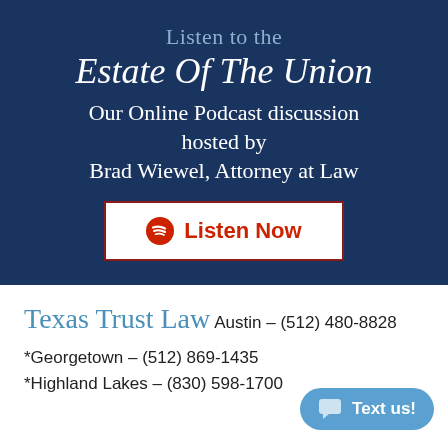Listen to the
Estate Of The Union
Our Online Podcast discussion hosted by Brad Wiewel, Attorney at Law
[Figure (other): Listen Now button with Spotify icon, white background with dark red border]
Texas Trust Law
Austin – (512) 480-8828
*Georgetown – (512) 869-1435
*Highland Lakes – (830) 598-1700
[Figure (other): Text us! button in blue rounded rectangle with chat icon]